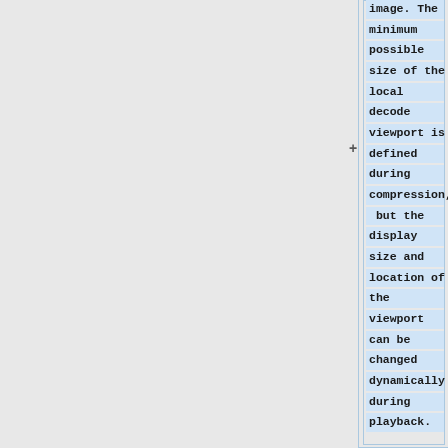image. The minimum possible size of the local decode viewport is defined during compression, but the display size and location of the viewport can be changed dynamically during playback.